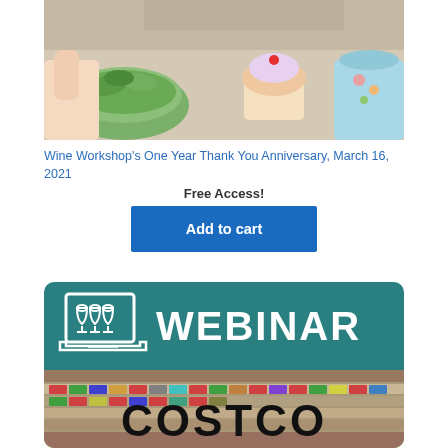[Figure (photo): Cropped photo of hands with food/salad items on a light background, partially visible with text clipped at top]
Wine Workshop's One Year Thank You Anniversary, March 16, 2021
Free Access!
Add to cart
[Figure (illustration): Teal banner card with laptop icon showing three wine glasses on screen and bold white text 'WEBINAR' on top half, bottom half shows a store aisle photo with bold black text 'COSTCO']